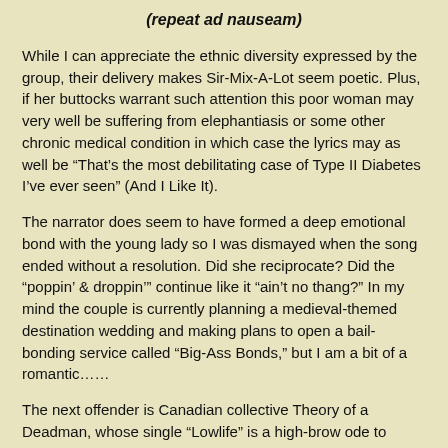(repeat ad nauseam)
While I can appreciate the ethnic diversity expressed by the group, their delivery makes Sir-Mix-A-Lot seem poetic. Plus, if her buttocks warrant such attention this poor woman may very well be suffering from elephantiasis or some other chronic medical condition in which case the lyrics may as well be “That’s the most debilitating case of Type II Diabetes I’ve ever seen” (And I Like It).
The narrator does seem to have formed a deep emotional bond with the young lady so I was dismayed when the song ended without a resolution. Did she reciprocate? Did the “poppin’ & droppin’” continue like it “ain’t no thang?” In my mind the couple is currently planning a medieval-themed destination wedding and making plans to open a bail-bonding service called “Big-Ass Bonds,” but I am a bit of a romantic……
The next offender is Canadian collective Theory of a Deadman, whose single “Lowlife” is a high-brow ode to those who exist outside the boundaries of acceptable